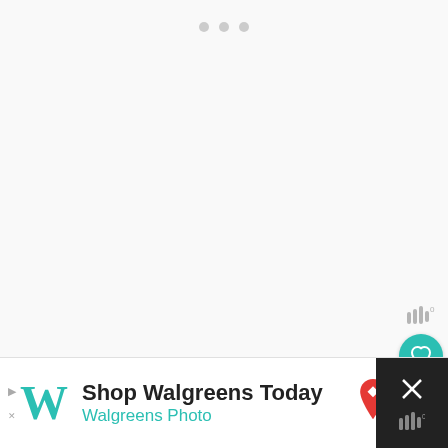[Figure (screenshot): Three gray loading dots at top center of a mostly blank/white content area, representing a loading or slideshow indicator]
[Figure (infographic): Teal circular heart (favorite) button and white circular share button on the right side, with a small sound/wifi icon above]
Share if you liked this!
[Figure (infographic): Social sharing buttons row: Facebook (blue), Twitter (light blue), Pinterest (red), LinkedIn (blue)]
[Figure (infographic): Walgreens advertisement banner at bottom: 'Shop Walgreens Today / Walgreens Photo' with Walgreens W logo and map pin icon. Close (X) button on far right.]